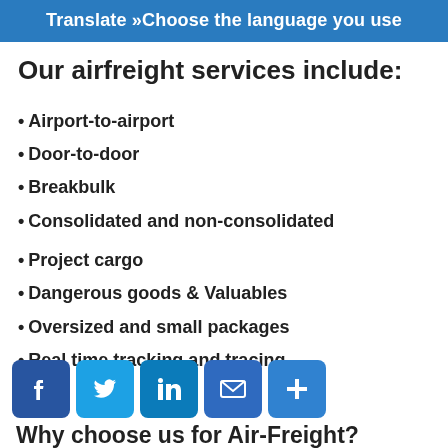Translate »Choose the language you use
Our airfreight services include:
Airport-to-airport
Door-to-door
Breakbulk
Consolidated and non-consolidated
Project cargo
Dangerous goods & Valuables
Oversized and small packages
Real time tracking and tracing
Why choose us for Air-Freight?